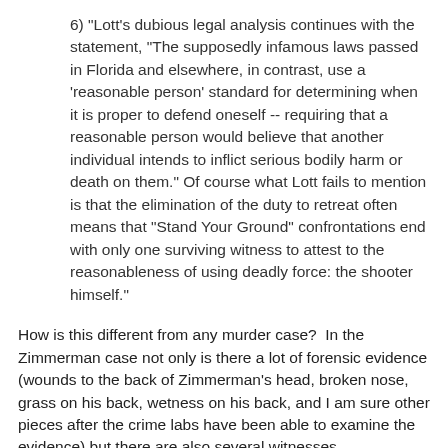6) "Lott's dubious legal analysis continues with the statement, "The supposedly infamous laws passed in Florida and elsewhere, in contrast, use a 'reasonable person' standard for determining when it is proper to defend oneself -- requiring that a reasonable person would believe that another individual intends to inflict serious bodily harm or death on them." Of course what Lott fails to mention is that the elimination of the duty to retreat often means that "Stand Your Ground" confrontations end with only one surviving witness to attest to the reasonableness of using deadly force: the shooter himself."
How is this different from any murder case?  In the Zimmerman case not only is there a lot of forensic evidence (wounds to the back of Zimmerman's head, broken nose, grass on his back, wetness on his back, and I am sure other pieces after the crime labs have been able to examine the evidence) but there are also several witnesses.
Despite Media Matters founder David Brock illegally using